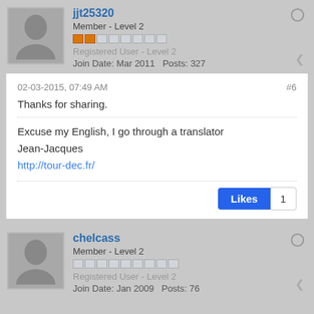jjt25320 | Member - Level 2 | Registered User - Level 2 | Join Date: Mar 2011  Posts: 327
02-03-2015, 07:49 AM
#6
Thanks for sharing.
Excuse my English, I go through a translator
Jean-Jacques
http://tour-dec.fr/
Likes 1
chelcass | Member - Level 2 | Registered User - Level 2 | Join Date: Jan 2009  Posts: 76